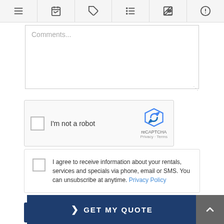[Figure (screenshot): Navigation icon bar with hamburger menu, calendar, tag, list, edit, and help icons]
Comments...
[Figure (screenshot): reCAPTCHA widget with checkbox, 'I'm not a robot' label, reCAPTCHA logo, Privacy and Terms links]
I agree to receive information about your rentals, services and specials via phone, email or SMS. You can unsubscribe at anytime. Privacy Policy
REQUEST INFO
❯ GET MY QUOTE